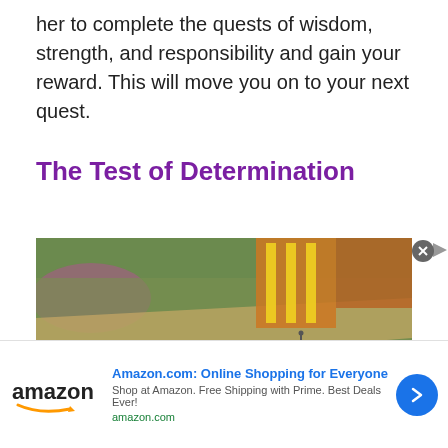her to complete the quests of wisdom, strength, and responsibility and gain your reward. This will move you on to your next quest.
The Test of Determination
[Figure (screenshot): Top-down view of a video game environment showing a green terrain with pathways, construction equipment with yellow-striped markings, small character figures, and vegetation.]
[Figure (infographic): Amazon advertisement banner: Amazon.com: Online Shopping for Everyone. Shop at Amazon. Free Shipping with Prime. Best Deals Ever! amazon.com]